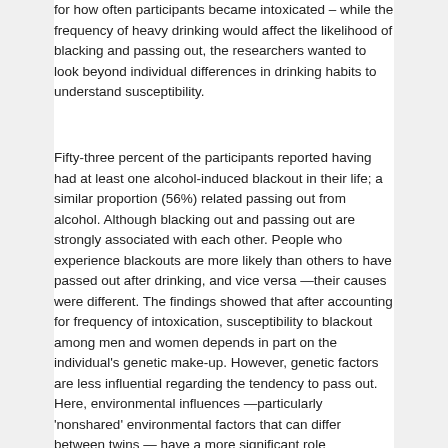for how often participants became intoxicated – while the frequency of heavy drinking would affect the likelihood of blacking and passing out, the researchers wanted to look beyond individual differences in drinking habits to understand susceptibility.
Fifty-three percent of the participants reported having had at least one alcohol-induced blackout in their life; a similar proportion (56%) related passing out from alcohol. Although blacking out and passing out are strongly associated with each other. People who experience blackouts are more likely than others to have passed out after drinking, and vice versa —their causes were different. The findings showed that after accounting for frequency of intoxication, susceptibility to blackout among men and women depends in part on the individual's genetic make-up. However, genetic factors are less influential regarding the tendency to pass out. Here, environmental influences —particularly 'nonshared' environmental factors that can differ between twins — have a more significant role